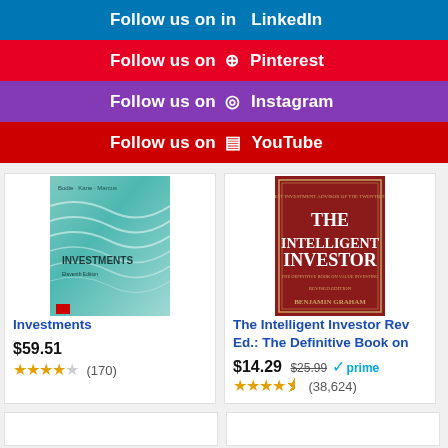Follow us on LinkedIn
Follow us on Pinterest
Follow us on Instagram
Follow us on YouTube
[Figure (illustration): Book cover for Investments by Bodie, Kane, Marcus — teal/green wave design]
Investments
$59.51
★★★★☆ (170)
[Figure (illustration): Book cover for The Intelligent Investor by Benjamin Graham — red cover]
The Intelligent Investor Rev Ed.: The Definitive Book on
$14.29 $25.99 ✓prime
★★★★☆ (38,624)